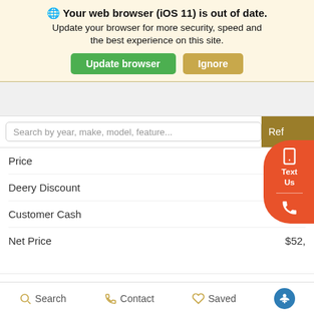🌐 Your web browser (iOS 11) is out of date. Update your browser for more security, speed and the best experience on this site.
Update browser | Ignore
Search by year, make, model, feature...
| Item | Value |
| --- | --- |
| Price | $5... |
| Deery Discount | -... |
| Customer Cash |  |
| Net Price | $52,... |
| Offer | Amount |
| --- | --- |
| GM Healthcare Professional Offer | $500 |
| GM Military Offer | $500 |
| GM Educator Offer | $500 |
Search  Contact  Saved  [Accessibility]